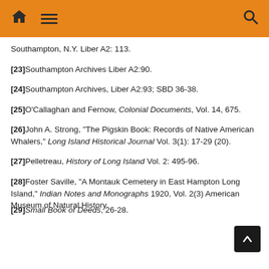Navigation header with home, menu, and search icons
Southampton, N.Y. Liber A2: 113.
[23]Southampton Archives Liber A2:90.
[24]Southampton Archives, Liber A2:93; SBD 36-38.
[25]O'Callaghan and Fernow, Colonial Documents, Vol. 14, 675.
[26]John A. Strong, "The Pigskin Book: Records of Native American Whalers," Long Island Historical Journal Vol. 3(1): 17-29 (20).
[27]Pelletreau, History of Long Island Vol. 2: 495-96.
[28]Foster Saville, "A Montauk Cemetery in East Hampton Long Island," Indian Notes and Monographs 1920, Vol. 2(3) American Museum of Natural History.
[29]Small Book of Deeds, 26-28.